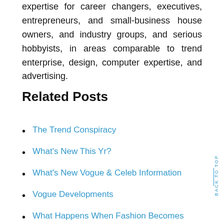expertise for career changers, executives, entrepreneurs, and small-business house owners, and industry groups, and serious hobbyists, in areas comparable to trend enterprise, design, computer expertise, and advertising.
Related Posts
The Trend Conspiracy
What's New This Yr?
What's New Vogue & Celeb Information
Vogue Developments
What Happens When Fashion Becomes Quick, Disposable And Low-cost?